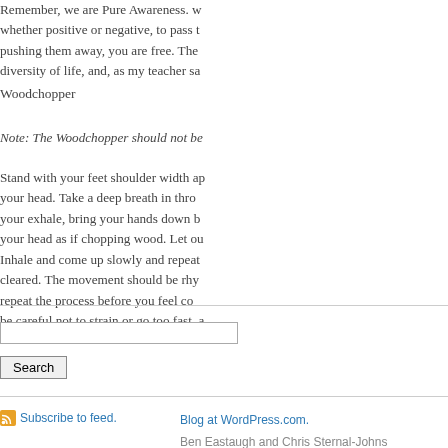Remember, we are Pure Awareness. whether positive or negative, to pass th pushing them away, you are free. Ther diversity of life, and, as my teacher say
Woodchopper
Note: The Woodchopper should not be
Stand with your feet shoulder width apa your head. Take a deep breath in throu your exhale, bring your hands down be your head as if chopping wood. Let out Inhale and come up slowly and repeat cleared. The movement should be rhyt repeat the process before you feel com be careful not to strain or go too fast, a
Subscribe to feed.
Blog at WordPress.com. Ben Eastaugh and Chris Sternal-Johns